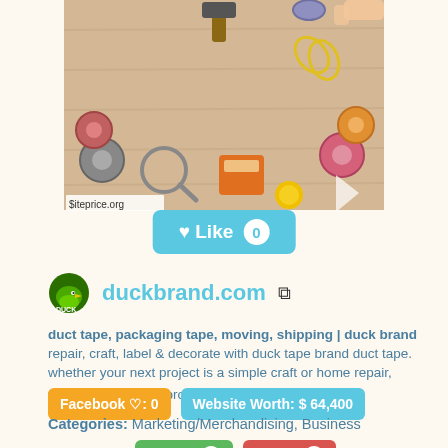[Figure (photo): Photo of various tools and tape rolls arranged on a wooden surface, seen from above. Watermark reads '$iteprice.org'.]
Like 0
[Figure (logo): Duck brand logo — cartoon duck icon with yellow beak]
duckbrand.com ↗
duct tape, packaging tape, moving, shipping | duck brand
repair, craft, label & decorate with duck tape brand duct tape. whether your next project is a simple craft or home repair, there's a duck tape produc   Scroll Top
Facebook ♡: 0
Website Worth: $ 64,400
Categories: Marketing/Merchandising, Business
Is it similar?
Yes 0
No 0